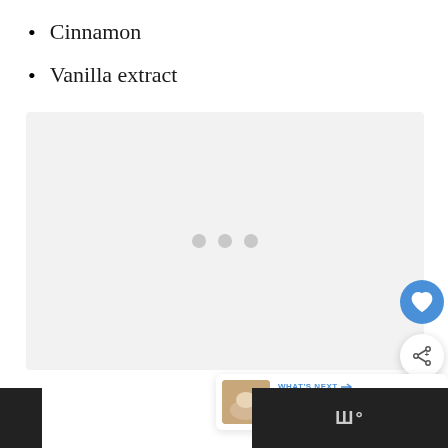Cinnamon
Vanilla extract
[Figure (other): Embedded video player area with loading dots indicator, heart/favorite button (blue circle), share button (white circle with share icon), and a 'What's Next' card showing Caramel Brûlée Latte with thumbnail]
WHAT'S NEXT → Caramel Brûlée Latte...